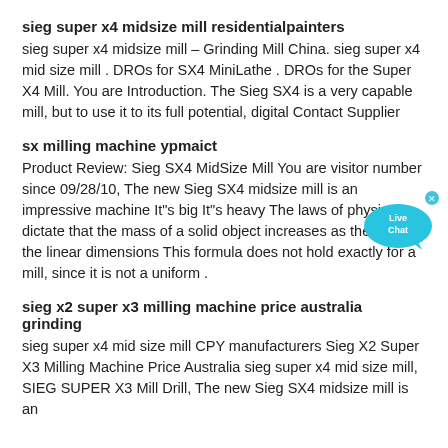sieg super x4 midsize mill residentialpainters
sieg super x4 midsize mill – Grinding Mill China. sieg super x4 mid size mill . DROs for SX4 MiniLathe . DROs for the Super X4 Mill. You are Introduction. The Sieg SX4 is a very capable mill, but to use it to its full potential, digital Contact Supplier
sx milling machine ypmaict
[Figure (illustration): Live Chat button/bubble in teal/cyan color with 'Live Chat' text]
Product Review: Sieg SX4 MidSize Mill You are visitor number since 09/28/10, The new Sieg SX4 midsize mill is an impressive machine It"s big It"s heavy The laws of physics dictate that the mass of a solid object increases as the cube of the linear dimensions This formula does not hold exactly for a mill, since it is not a uniform .
sieg x2 super x3 milling machine price australia grinding
sieg super x4 mid size mill CPY manufacturers Sieg X2 Super X3 Milling Machine Price Australia sieg super x4 mid size mill, SIEG SUPER X3 Mill Drill, The new Sieg SX4 midsize mill is an